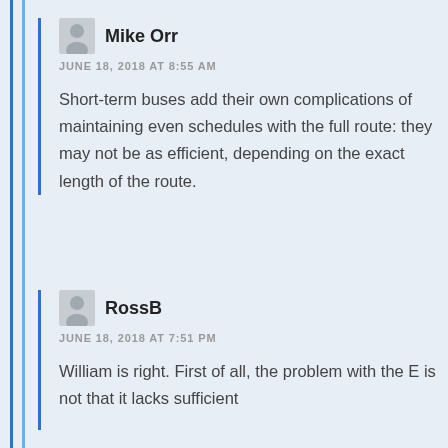Mike Orr
JUNE 18, 2018 AT 8:55 AM
Short-term buses add their own complications of maintaining even schedules with the full route: they may not be as efficient, depending on the exact length of the route.
RossB
JUNE 18, 2018 AT 7:51 PM
William is right. First of all, the problem with the E is not that it lacks sufficient